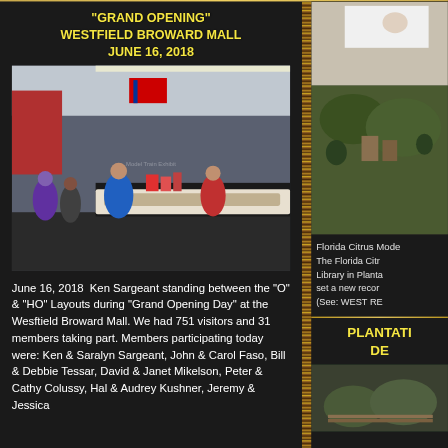"GRAND OPENING" WESTFIELD BROWARD MALL JUNE 16, 2018
[Figure (photo): Interior of model train exhibit at Westfield Broward Mall showing O and HO layouts with visitors and members including a man in blue shirt standing between layouts]
June 16, 2018  Ken Sargeant standing between the "O" & "HO" Layouts during "Grand Opening Day" at the Wesftield Broward Mall. We had 751 visitors and 31 members taking part. Members participating today were: Ken & Saralyn Sargeant, John & Carol Faso, Bill & Debbie Tessar, David & Janet Mikelson, Peter & Cathy Colussy, Hal & Audrey Kushner, Jeremy & Jessica
[Figure (photo): Man operating model train layout, view from above]
Florida Citrus Mode
The Florida Citr Library in Planta set a new recor (See: WEST RE
PLANTATI DE